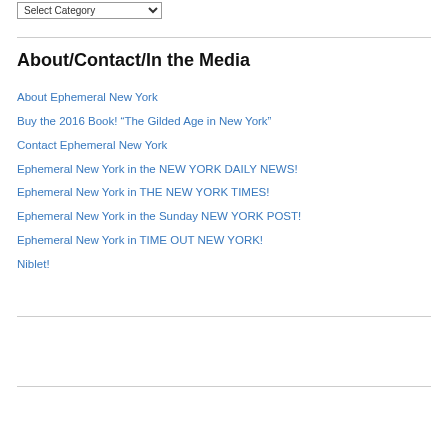Select Category
About/Contact/In the Media
About Ephemeral New York
Buy the 2016 Book! “The Gilded Age in New York”
Contact Ephemeral New York
Ephemeral New York in the NEW YORK DAILY NEWS!
Ephemeral New York in THE NEW YORK TIMES!
Ephemeral New York in the Sunday NEW YORK POST!
Ephemeral New York in TIME OUT NEW YORK!
Niblet!